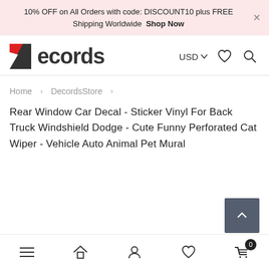10% OFF on All Orders with code: DISCOUNT10 plus FREE Shipping Worldwide Shop Now
[Figure (logo): Decords logo with red geometric D shape and dark text]
Home > DecordsStore >
Rear Window Car Decal - Sticker Vinyl For Back Truck Windshield Dodge - Cute Funny Perforated Cat Wiper - Vehicle Auto Animal Pet Mural